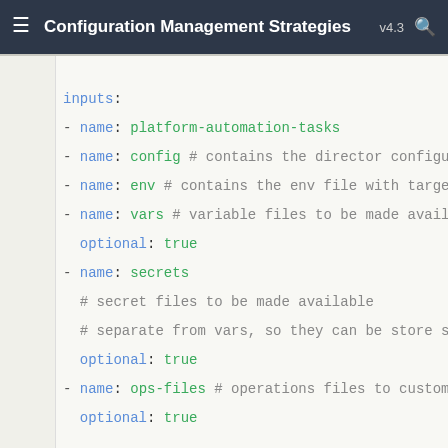Configuration Management Strategies v4.3
3
4  inputs:
5  - name: platform-automation-tasks
6  - name: config # contains the director configura
7  - name: env # contains the env file with target
8  - name: vars # variable files to be made availab
9    optional: true
10 - name: secrets
11   # secret files to be made available
12   # separate from vars, so they can be store sec
13   optional: true
14 - name: ops-files # operations files to custom c
15   optional: true
16
17 params:
18   VARS_FILES:
19   # - Optional
20   # - Filepath to the Ops Manager vars yaml file